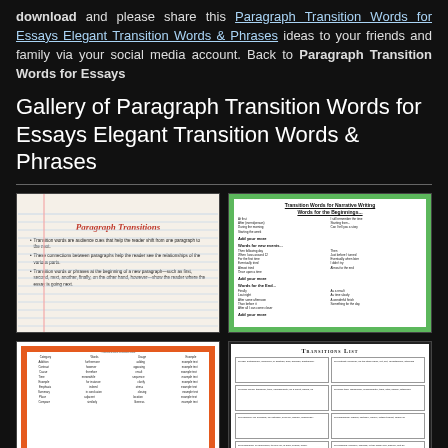download and please share this Paragraph Transition Words for Essays Elegant Transition Words & Phrases ideas to your friends and family via your social media account. Back to Paragraph Transition Words for Essays
Gallery of Paragraph Transition Words for Essays Elegant Transition Words & Phrases
[Figure (screenshot): Thumbnail of a slide titled Paragraph Transitions with bullet points about transition words on a lined paper background.]
[Figure (screenshot): Thumbnail of a green polka-dot bordered worksheet about Transition Words for Narrative Writing.]
[Figure (screenshot): Thumbnail of a transitions worksheet with an orange border showing a table of transition words.]
[Figure (screenshot): Thumbnail of a Transitions List document with a grid of categorized transition words.]